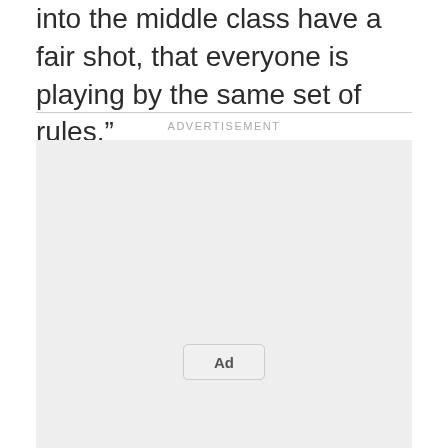into the middle class have a fair shot, that everyone is playing by the same set of rules.”
[Figure (other): Advertisement placeholder box with 'Ad' button centered near the bottom]